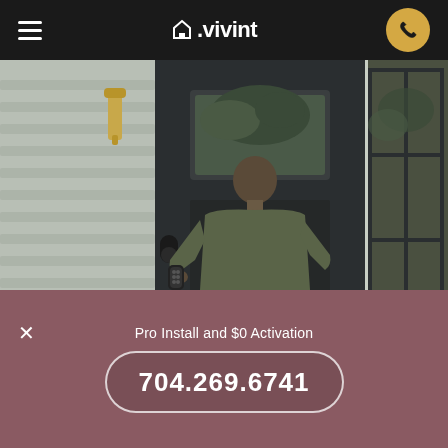Vivint — navigation bar with hamburger menu, Vivint logo, and phone call button
[Figure (photo): Man seen from behind, using a smart lock on a dark front door of a home with shingle siding and a brass wall sconce]
Locust homeowners enjoy
Pro Install and $0 Activation
704.269.6741